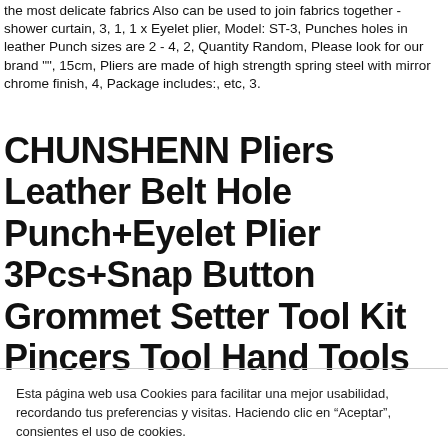the most delicate fabrics Also can be used to join fabrics together - shower curtain, 3, 1, 1 x Eyelet plier, Model: ST-3, Punches holes in leather Punch sizes are 2 - 4, 2, Quantity Random, Please look for our brand "", 15cm, Pliers are made of high strength spring steel with mirror chrome finish, 4, Package includes:, etc, 3.
CHUNSHENN Pliers Leather Belt Hole Punch+Eyelet Plier 3Pcs+Snap Button Grommet Setter Tool Kit Pincers Tool Hand Tools Safe
Esta página web usa Cookies para facilitar una mejor usabilidad, recordando tus preferencias y visitas. Haciendo clic en “Aceptar”, consientes el uso de cookies.
Configuración cookies   Aceptar